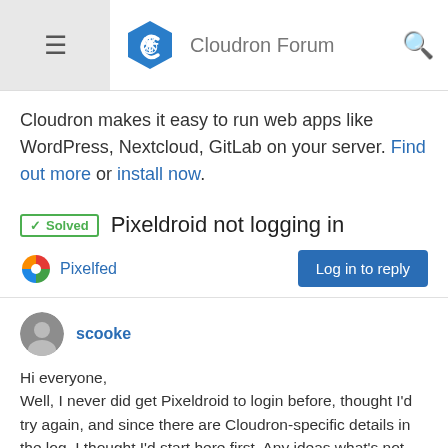Cloudron Forum
Cloudron makes it easy to run web apps like WordPress, Nextcloud, GitLab on your server. Find out more or install now.
✓ Solved  Pixeldroid not logging in
Pixelfed
Log in to reply
scooke
Hi everyone,
Well, I never did get Pixeldroid to login before, thought I'd try again, and since there are Cloudron-specific details in the log, I thought I'd start here first. Any ideas what's not wrong? It seems to not be finding a username. Is this a case where Pixelfed needs something installed on the root domain, while it itself is installed on a